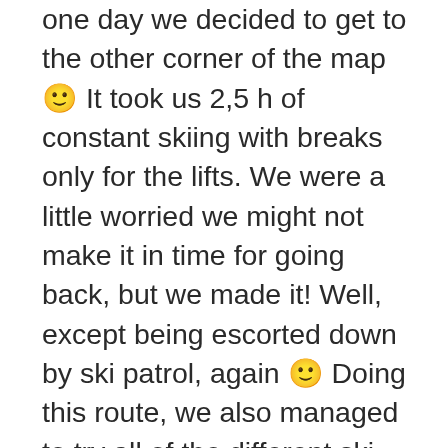one day we decided to get to the other corner of the map 🙂 It took us 2,5 h of constant skiing with breaks only for the lifts. We were a little worried we might not make it in time for going back, but we made it! Well, except being escorted down by ski patrol, again 🙂 Doing this route, we also managed to try all of the different ski lifts. Be it a chair, a gondola, the pulling thing for one and two people, a normal rope that you had to hold on to, or a tunnel where you were standing on the moving floor, to name a few. All of those different types of transportation made the whole trip even more interesting and fun. Unfortunately, the neighborhood of Glacier Du Pissaillas (top left corner of the map) was not steep enough for snowboard and I had to walk quite a lot there. I got a lot of speed boosts from, both my